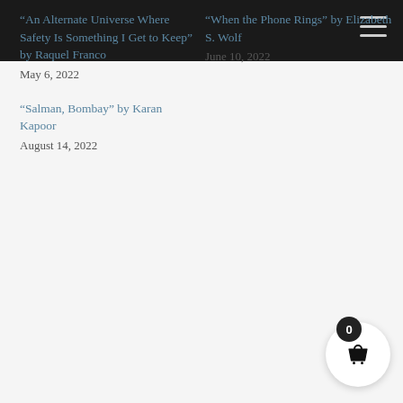“An Alternate Universe Where Safety Is Something I Get to Keep” by Raquel Franco
May 6, 2022
“When the Phone Rings” by Elizabeth S. Wolf
June 10, 2022
“Salman, Bombay” by Karan Kapoor
August 14, 2022